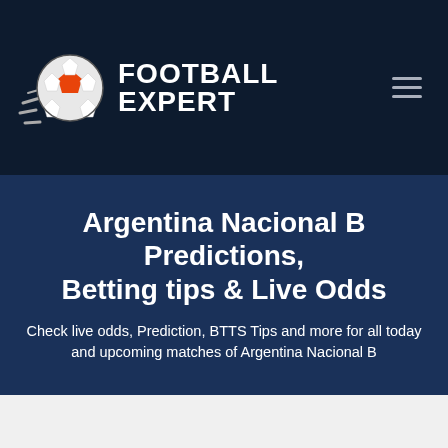[Figure (logo): Football Expert logo with soccer ball icon and text 'FOOTBALL EXPERT' in white on dark navy background with hamburger menu icon]
Argentina Nacional B Predictions, Betting tips & Live Odds
Check live odds, Prediction, BTTS Tips and more for all today and upcoming matches of Argentina Nacional B
Argentina Nacional B Matches Results